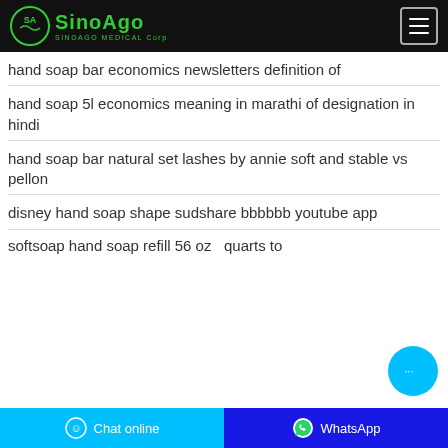SINOAGO MEDICAL Corp
hand soap bar economics newsletters definition of
hand soap 5l economics meaning in marathi of designation in hindi
hand soap bar natural set lashes by annie soft and stable vs pellon
disney hand soap shape sudshare bbbbbb youtube app
softsoap hand soap refill 56 oz quarts to
Chat online | WhatsApp